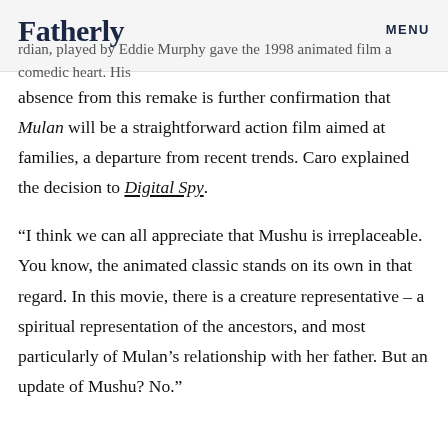Fatherly | MENU
rdian, played by Eddie Murphy gave the 1998 animated film a comedic heart. His
absence from this remake is further confirmation that Mulan will be a straightforward action film aimed at families, a departure from recent trends. Caro explained the decision to Digital Spy.
“I think we can all appreciate that Mushu is irreplaceable. You know, the animated classic stands on its own in that regard. In this movie, there is a creature representative – a spiritual representation of the ancestors, and most particularly of Mulan’s relationship with her father. But an update of Mushu? No.”